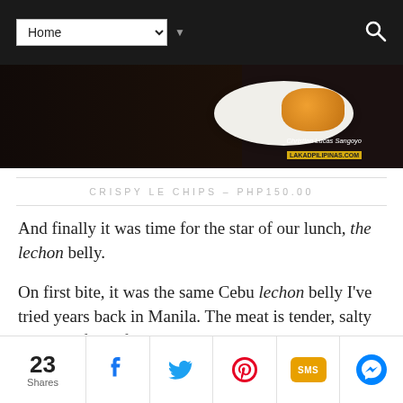Home [navigation dropdown]
[Figure (photo): Food photo showing a plate with orange/yellow food item, dark background, credit: Christian Lucas Sangoyo, LAKADPILIPINAS.COM]
CRISPY LE CHIPS – PHP150.00
And finally it was time for the star of our lunch, the lechon belly.
On first bite, it was the same Cebu lechon belly I've tried years back in Manila. The meat is tender, salty and very flavorful; and the skin, super crunchy. I tried both the original and the spicy version, and like before, I still
23 Shares | Facebook | Twitter | Pinterest | SMS | Messenger